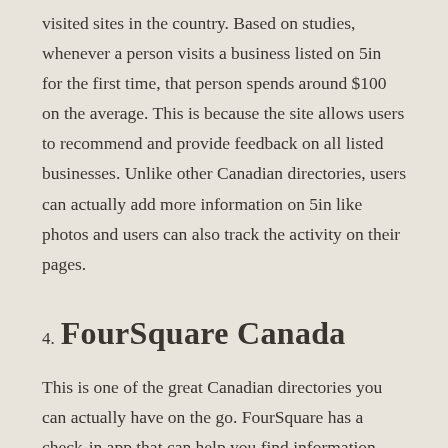visited sites in the country. Based on studies, whenever a person visits a business listed on 5in for the first time, that person spends around $100 on the average. This is because the site allows users to recommend and provide feedback on all listed businesses. Unlike other Canadian directories, users can actually add more information on 5in like photos and users can also track the activity on their pages.
4. FourSquare Canada
This is one of the great Canadian directories you can actually have on the go. FourSquare has a check-in app that can help you find information about businesses you encounter daily.